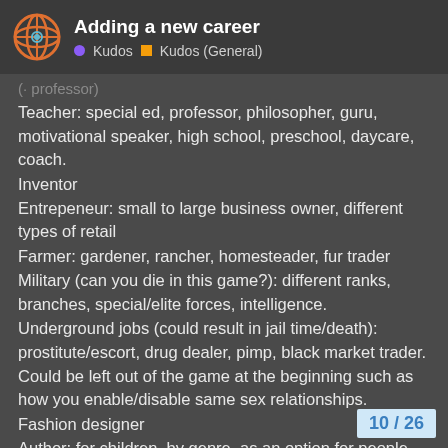Adding a new career | Kudos | Kudos (General)
Teacher: special ed, professor, philosopher, guru, motivational speaker, high school, preschool, daycare, coach.
Inventor
Entrepeneur: small to large business owner, different types of retail
Farmer: gardener, rancher, homesteader, fur trader
Military (can you die in this game?): different ranks, branches, special/elite forces, intelligence.
Underground jobs (could result in jail time/death): prostitute/escort, drug dealer, pimp, black market trader.
Could be left out of the game at the beginning such as how you enable/disable same sex relationships.
Fashion designer
Author: for children, by genre, as an option for people who reach the top of their profession.
Do gooder: social worker, environmental [...] fundraiser.
10 / 26